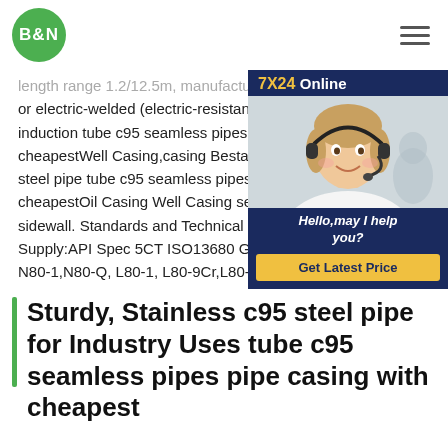B&N (logo)
length range 1.2/12.5m, manufacturers pro... or electric-welded (electric-resistance c... induction tube c95 seamless pipes pip... cheapestWell Casing,casing Bestar St... steel pipe tube c95 seamless pipes pip... cheapestOil Casing Well Casing serve... sidewall. Standards and Technical Con... Supply:API Spec 5CT ISO13680 Grad... N80-1,N80-Q, L80-1, L80-9Cr,L80-13Cr, C95, P110.
[Figure (illustration): Customer service chat widget with '7X24 Online' header in dark blue, photo of woman with headset, 'Hello, may I help you?' text, and 'Get Latest Price' yellow button]
Sturdy, Stainless c95 steel pipe for Industry Uses tube c95 seamless pipes pipe casing with cheapest